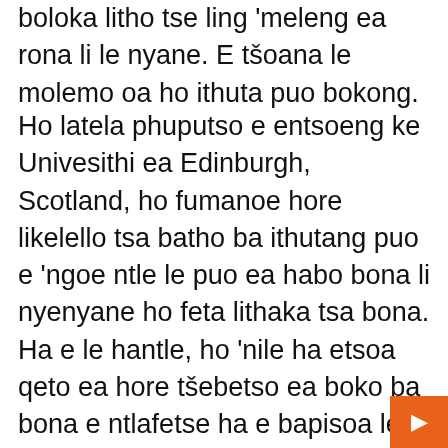boloka litho tse ling 'meleng ea rona li le nyane. E tšoana le molemo oa ho ithuta puo bokong.
Ho latela phuputso e entsoeng ke Univesithi ea Edinburgh, Scotland, ho fumanoe hore likelello tsa batho ba ithutang puo e 'ngoe ntle le puo ea habo bona li nyenyane ho feta lithaka tsa bona. Ha e le hantle, ho 'nile ha etsoa qeto ea hore tšebetso ea boko ba bona e ntlafetse ha e bapisoa le ea nakong e fetileng, boko ba bona bo sebetsa hamolemo haholoanyane, 'me ha ba na mathata a kang ho lahleheloa ke kelello nakong e tlang. Ka mantsoe a mang, esita le haeba batho ba se na lebaka leha e le lefe la ho ithuta puo e 'ngoe, ho khothalletsoa hore ba qale ho ithuta puo ena e le hore feela likelello tsa bona li lule le bona.